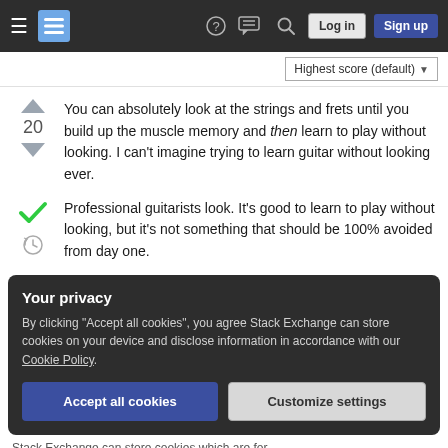Stack Exchange navigation bar with hamburger menu, logo, help, chat, search, Log in, Sign up
Highest score (default)
You can absolutely look at the strings and frets until you build up the muscle memory and then learn to play without looking. I can't imagine trying to learn guitar without looking ever.
Professional guitarists look. It's good to learn to play without looking, but it's not something that should be 100% avoided from day one.
Your privacy
By clicking "Accept all cookies", you agree Stack Exchange can store cookies on your device and disclose information in accordance with our Cookie Policy.
Accept all cookies
Customize settings
Stack Exchange can store cookies which are for...